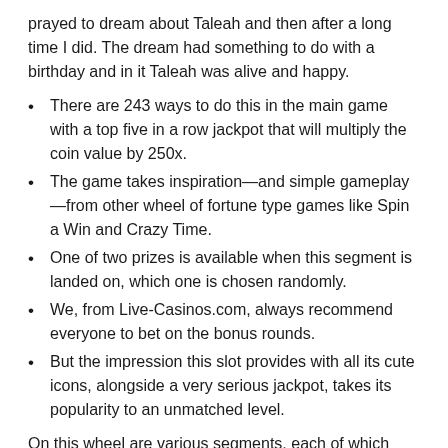prayed to dream about Taleah and then after a long time I did. The dream had something to do with a birthday and in it Taleah was alive and happy.
There are 243 ways to do this in the main game with a top five in a row jackpot that will multiply the coin value by 250x.
The game takes inspiration—and simple gameplay—from other wheel of fortune type games like Spin a Win and Crazy Time.
One of two prizes is available when this segment is landed on, which one is chosen randomly.
We, from Live-Casinos.com, always recommend everyone to bet on the bonus rounds.
But the impression this slot provides with all its cute icons, alongside a very serious jackpot, takes its popularity to an unmatched level.
On this wheel are various segments, each of which contains a number or a bonus symbol. The dealer will spin the wheel and, depending on where it stops, a prize is triggered. Of course, there's a bit more to Adventures Beyond Wonderland Live than